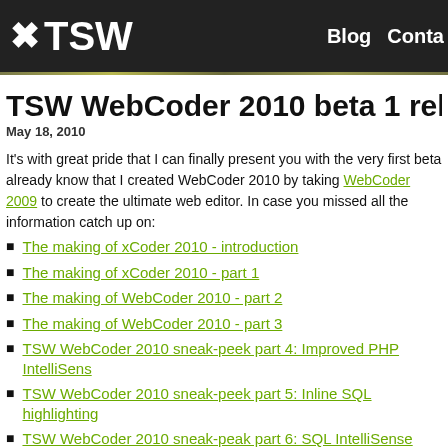TSW Blog Conta
TSW WebCoder 2010 beta 1 relea
May 18, 2010
It's with great pride that I can finally present you with the very first beta already know that I created WebCoder 2010 by taking WebCoder 2009 to create the ultimate web editor. In case you missed all the information catch up on:
The making of xCoder 2010 - introduction
The making of xCoder 2010 - part 1
The making of WebCoder 2010 - part 2
The making of WebCoder 2010 - part 3
TSW WebCoder 2010 sneak-peek part 4: Improved PHP IntelliSens
TSW WebCoder 2010 sneak-peek part 5: Inline SQL highlighting
TSW WebCoder 2010 sneak-peak part 6: SQL IntelliSense